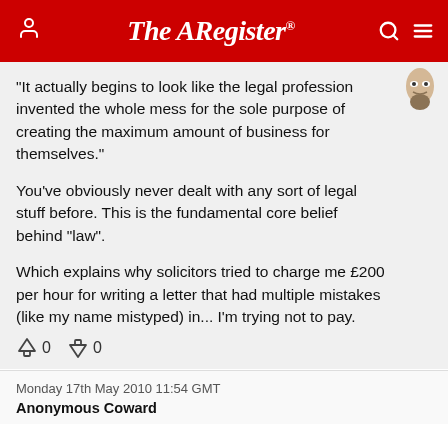The Register
"It actually begins to look like the legal profession invented the whole mess for the sole purpose of creating the maximum amount of business for themselves."

You've obviously never dealt with any sort of legal stuff before. This is the fundamental core belief behind "law".

Which explains why solicitors tried to charge me £200 per hour for writing a letter that had multiple mistakes (like my name mistyped) in... I'm trying not to pay.
↑0  ↓0
Monday 17th May 2010 11:54 GMT
Anonymous Coward
Report abuse